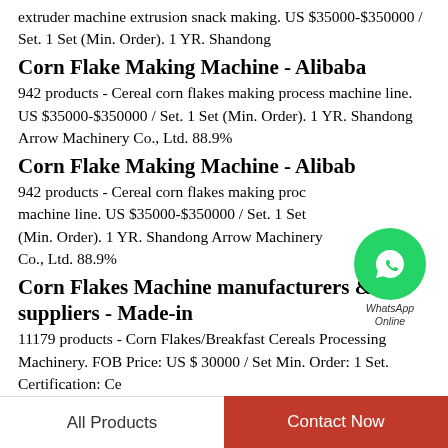extruder machine extrusion snack making. US $35000-$350000 / Set. 1 Set (Min. Order). 1 YR. Shandong
Corn Flake Making Machine - Alibaba
942 products - Cereal corn flakes making process machine line. US $35000-$350000 / Set. 1 Set (Min. Order). 1 YR. Shandong Arrow Machinery Co., Ltd. 88.9%
Corn Flake Making Machine - Alibaba
942 products - Cereal corn flakes making process machine line. US $35000-$350000 / Set. 1 Set (Min. Order). 1 YR. Shandong Arrow Machinery Co., Ltd. 88.9%
Corn Flakes Machine manufacturers & suppliers - Made-in
11179 products - Corn Flakes/Breakfast Cereals Processing Machinery. FOB Price: US $ 30000 / Set Min. Order: 1 Set. Certification: Ce
[Figure (logo): WhatsApp Online badge - green circle with phone icon and text WhatsApp Online]
All Products   Contact Now